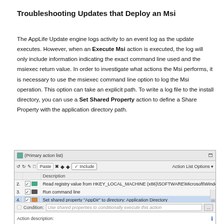Troubleshooting Updates that Deploy an Msi
The AppLife Update engine logs activity to an event log as the update executes. However, when an Execute Msi action is executed, the log will only include information indicating the exact command line used and the msiexec return value. In order to investigate what actions the Msi performs, it is necessary to use the msiexec command line option to log the Msi operation. This option can take an explicit path. To write a log file to the install directory, you can use a Set Shared Property action to define a Share Property with the application directory path.
[Figure (screenshot): Screenshot of an AppLife Update action list editor showing a Primary action list with toolbar options (Paste, Include button) and a table listing actions: Row 2 - Read registry value from HKEY_LOCAL_MACHINE (x86)\SOFTWARE\Microsoft\Windows\CurrentVersion\Uninstall\[0c... (Valid), Row 3 - Run command line (Valid), Row 4 - Set shared property 'AppDir' to directory: Application Directory (highlighted, Valid), Row 5 - Place the Msi (Valid), Row 6 - Execute MSI (Valid). Below is a Condition bar and Action description bar.]